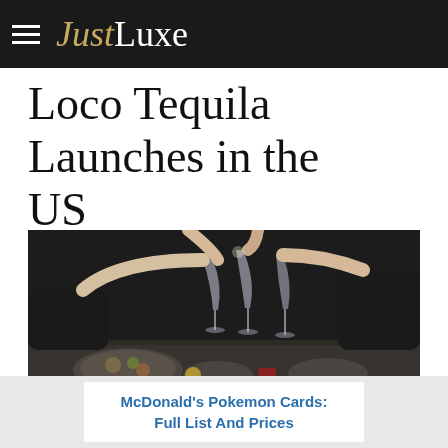JustLuxe
Loco Tequila Launches in the US
[Figure (photo): People clinking wine/cocktail glasses over a table with food dishes, dining scene with multiple hands raising glasses in a toast]
Fran Endicott Miller
Toast to a Classic:
McDonald's Pokemon Cards: Full List And Prices